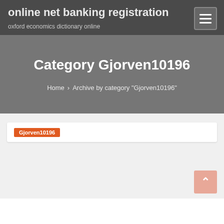online net banking registration
oxford economics dictionary online
Category Gjorven10196
Home › Archive by category "Gjorven10196"
Gjorven10196